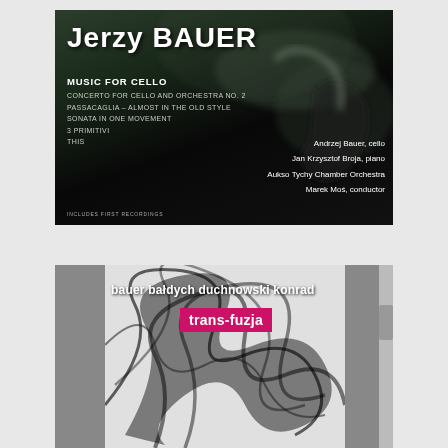[Figure (illustration): Album cover for Jerzy Bauer - Music for Cello. Dark background with smoke/fog imagery. Features artist name, album title, tracklist, and performer credits.]
[Figure (illustration): Album cover for trans-fuzja by bauer bałdych duchnowski konrad. Black and white swirling smoke/ribbon imagery on light background with gray side panels. Title in white text, 'trans-fuzja' in pink/magenta box.]